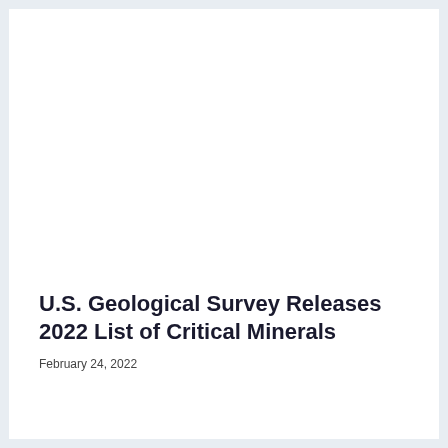U.S. Geological Survey Releases 2022 List of Critical Minerals
February 24, 2022